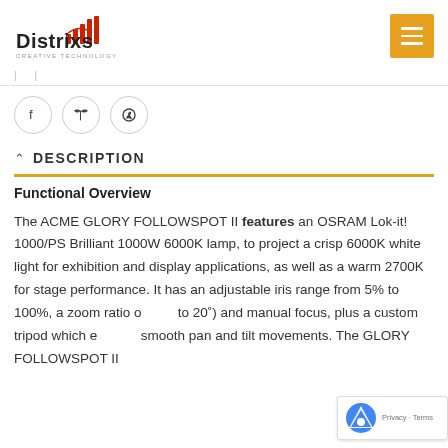[Figure (logo): Distrixs Creative Technology logo with red signal/wave icon]
[Figure (other): Orange hamburger menu button]
[Figure (other): Social share icons: Facebook, Twitter, WhatsApp in circular borders]
DESCRIPTION
Functional Overview
The ACME GLORY FOLLOWSPOT II features an OSRAM Lok-it! 1000/PS Brilliant 1000W 6000K lamp, to project a crisp 6000K white light for exhibition and display applications, as well as a warm 2700K for stage performance. It has an adjustable iris range from 5% to 100%, a zoom ratio of (10° to 20°) and manual focus, plus a custom tripod which enables smooth pan and tilt movements. The GLORY FOLLOWSPOT II